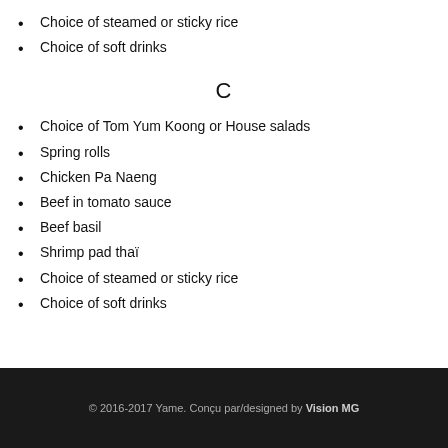Choice of steamed or sticky rice
Choice of soft drinks
C
Choice of Tom Yum Koong or House salads
Spring rolls
Chicken Pa Naeng
Beef in tomato sauce
Beef basil
Shrimp pad thaï
Choice of steamed or sticky rice
Choice of soft drinks
© 2016-2017 Yame. Conçu par/designed by Vision MG